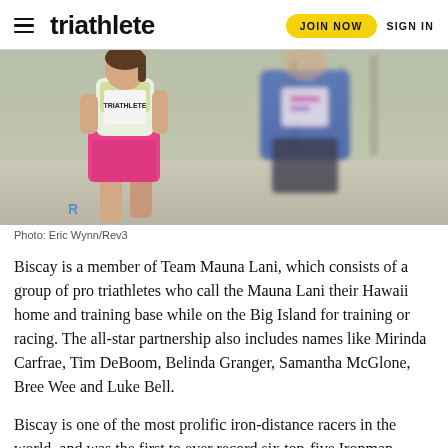triathlete | JOIN NOW | SIGN IN
[Figure (photo): Two triathletes running in a race. The foreground athlete is a woman wearing a white top and bright pink skirt/shorts. Behind her is another runner in a blue tank top. The background shows a blurred outdoor racing environment.]
Photo: Eric Wynn/Rev3
Biscay is a member of Team Mauna Lani, which consists of a group of pro triathletes who call the Mauna Lani their Hawaii home and training base while on the Big Island for training or racing. The all-star partnership also includes names like Mirinda Carfrae, Tim DeBoom, Belinda Granger, Samantha McGlone, Bree Wee and Luke Bell.
Biscay is one of the most prolific iron-distance racers in the world, and was the first to ever record six top-five Ironman